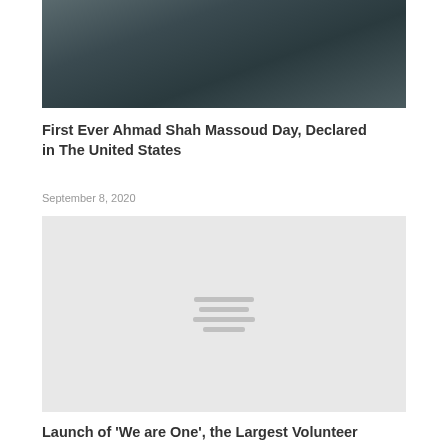[Figure (photo): Dark photo of a crowd of people, appearing to be refugees or displaced persons]
First Ever Ahmad Shah Massoud Day, Declared in The United States
September 8, 2020
[Figure (photo): Light gray placeholder image with small horizontal lines in the center]
Launch of 'We are One', the Largest Volunteer